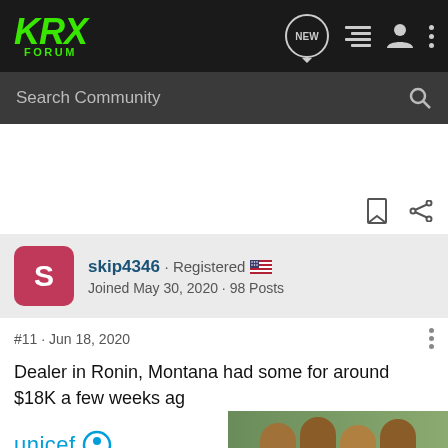KRX FORUM
Search Community
skip4346 · Registered
Joined May 30, 2020 · 98 Posts
#11 · Jun 18, 2020
Dealer in Ronin, Montana had some for around $18K a few weeks ag
[Figure (screenshot): UNICEF advertisement banner with logo and photo of smiling children]